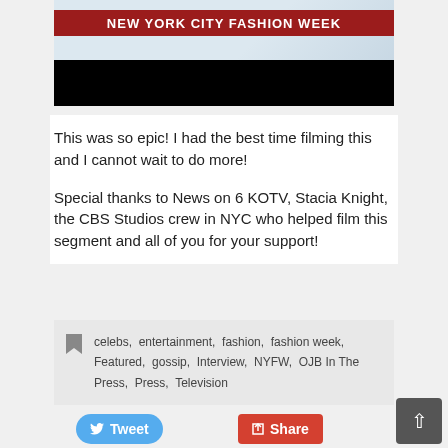[Figure (screenshot): A video thumbnail for New York City Fashion Week. Top portion shows a light blue/white background with red banner reading 'NEW YORK CITY FASHION WEEK' in white bold text. Bottom portion is a black rectangle (redacted/blurred content).]
This was so epic! I had the best time filming this and I cannot wait to do more!
Special thanks to News on 6 KOTV, Stacia Knight, the CBS Studios crew in NYC who helped film this segment and all of you for your support!
celebs, entertainment, fashion, fashion week, Featured, gossip, Interview, NYFW, OJB In The Press, Press, Television